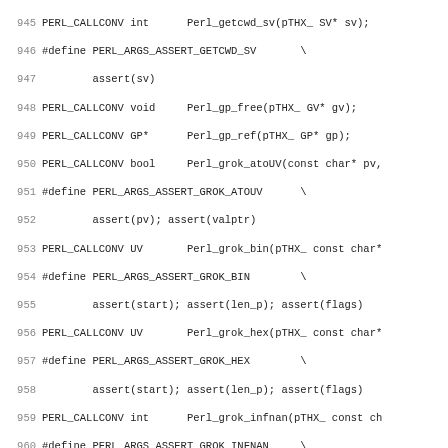945 PERL_CALLCONV int       Perl_getcwd_sv(pTHX_ SV* sv);
946 #define PERL_ARGS_ASSERT_GETCWD_SV       \
947         assert(sv)
948 PERL_CALLCONV void      Perl_gp_free(pTHX_ GV* gv);
949 PERL_CALLCONV GP*       Perl_gp_ref(pTHX_ GP* gp);
950 PERL_CALLCONV bool      Perl_grok_atoUV(const char* pv,
951 #define PERL_ARGS_ASSERT_GROK_ATOUV      \
952         assert(pv); assert(valptr)
953 PERL_CALLCONV UV        Perl_grok_bin(pTHX_ const char*
954 #define PERL_ARGS_ASSERT_GROK_BIN        \
955         assert(start); assert(len_p); assert(flags)
956 PERL_CALLCONV UV        Perl_grok_hex(pTHX_ const char*
957 #define PERL_ARGS_ASSERT_GROK_HEX        \
958         assert(start); assert(len_p); assert(flags)
959 PERL_CALLCONV int       Perl_grok_infnan(pTHX_ const ch
960 #define PERL_ARGS_ASSERT_GROK_INFNAN     \
961         assert(sp); assert(send)
962 PERL_CALLCONV int       Perl_grok_number(pTHX_ const ch
963 #define PERL_ARGS_ASSERT_GROK_NUMBER     \
964         assert(pv)
965 PERL_CALLCONV int       Perl_grok_number_flags(pTHX_ co
966 #define PERL_ARGS_ASSERT_GROK_NUMBER_FLAGS       \
967         assert(pv)
968 PERL_CALLCONV bool      Perl_grok_numeric_radix(pTHX_ c
969                         __attribute__warn_unused_result
970 #define PERL_ARGS_ASSERT_GROK_NUMERIC_RADIX      \
971         assert(sp); assert(send)
972
973 PERL_CALLCONV UV        Perl_grok_oct(pTHX_ const char*
974 #define PERL_ARGS_ASSERT_GROK_OCT        \
975         assert(start); assert(len_p); assert(flags)
976 #ifndef NO_MATHOMS
977 PERL_CALLCONV GV*       Perl_gv_AVadd(pTHX_ GV *gv);